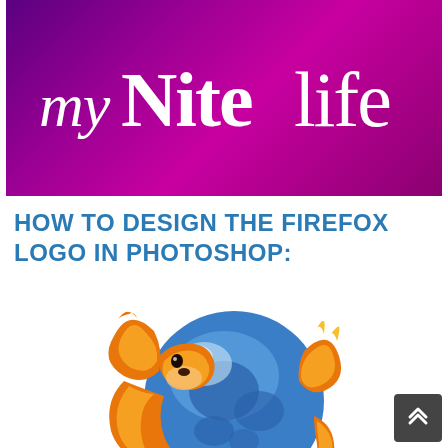[Figure (logo): myNitelife logo — white serif/italic text on a purple-to-magenta gradient background banner]
HOW TO DESIGN THE FIREFOX LOGO IN PHOTOSHOP:
[Figure (illustration): Mozilla Firefox logo — a globe with blue/steel coloring wrapped by an orange fox with yellow/gold flame accents, partially cropped at the bottom]